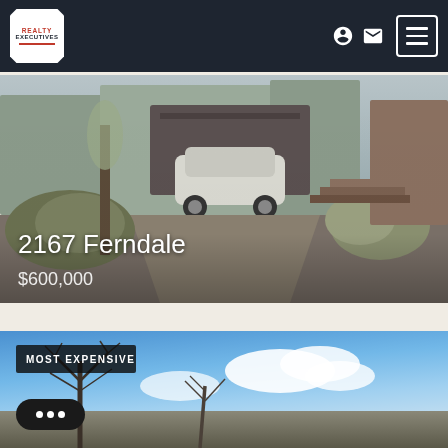[Figure (logo): Realty Executives logo in white badge shape with red text]
[Figure (photo): Property photo at 2167 Ferndale showing driveway with parked white SUV and landscaping]
2167 Ferndale
$600,000
[Figure (photo): Second property listing photo showing bare winter trees against blue sky, labeled MOST EXPENSIVE]
MOST EXPENSIVE